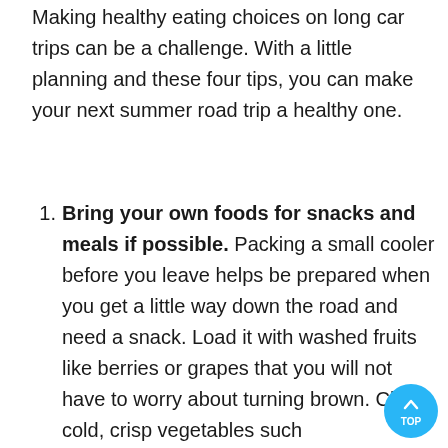Making healthy eating choices on long car trips can be a challenge. With a little planning and these four tips, you can make your next summer road trip a healthy one.
Bring your own foods for snacks and meals if possible. Packing a small cooler before you leave helps be prepared when you get a little way down the road and need a snack. Load it with washed fruits like berries or grapes that you will not have to worry about turning brown. Clean cold, crisp vegetables such